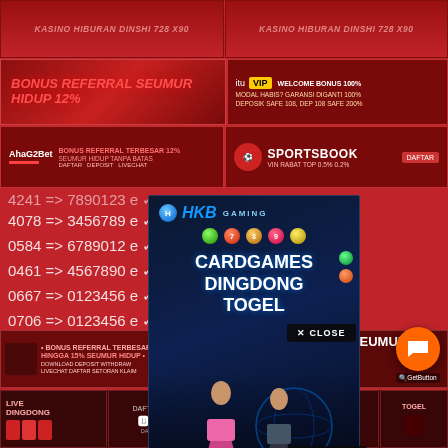[Figure (screenshot): Top banner with decorative text: two mirrored banners showing stylized text 'KASINO HIBURAN DINSHI 728 X90']
[Figure (screenshot): Second row: Left banner 'BONUS REFERRAL SEUMUR HIDUP 12%' in red/pink. Right banner 'itu VIP - WELCOME BONUS 100% MODAL HABIS? GARANSI DIGANTI 100% DEPOSIT SAFE 108, DEP 108 SAFE 200.']
[Figure (screenshot): Third row: Left banner 'AhaG2Bet - BONUS REFERRAL TERBESAR 12% SEUMUR HIDUP TANPA BATAS'. Right banner 'SPORTSBOOK VIN RABAT TOP 0.5% 0.2%']
4241 => 7890123 e
4078 => 3456789 e
0584 => 6789012 e
0461 => 4567890 e
0667 => 0123456 e
0706 => 0123456 e
3162 => 8901234 e
6763 => 4567890
5505 => 1234567 e
[Figure (screenshot): HKB Gaming popup overlay: Dark blue background with colorful balls, text 'HKB GAMING - CARDGAMES DINGDONG TOGEL' with female character and globe graphic]
X CLOSE
[Figure (screenshot): Bottom left banner: 'BONUS REFERRAL TERBESAR HINGGA 15% SEUMUR HIDUP' with small image]
[Figure (screenshot): Bottom right banner: 'CITIRTIMEI - REFERRAL SEUMUR HIDUP HINGGA 10% CARD GAMES']
[Figure (screenshot): Very bottom row: LIVE DINGDONG section, TOTOBET logo, SPORTSBOOK section, TOGEL section, GetButton chat widget]